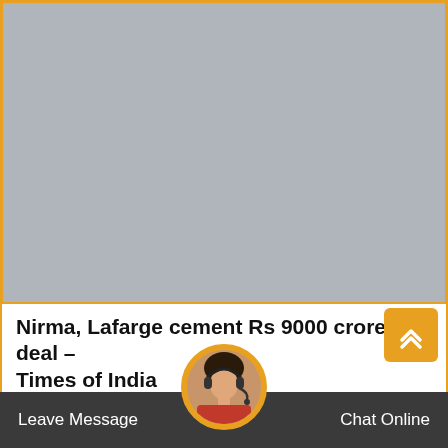[Figure (photo): Large gray placeholder image area with orange border, occupying the top portion of the page]
Nirma, Lafarge cement Rs 9000 crore deal – Times of India
Jul 12, 2016 · 74-year-old Karsanbhai Patel, founder and
[Figure (photo): Avatar/headshot of a woman with headset, customer support representative, circular image at bottom center]
Leave Message
Chat Online